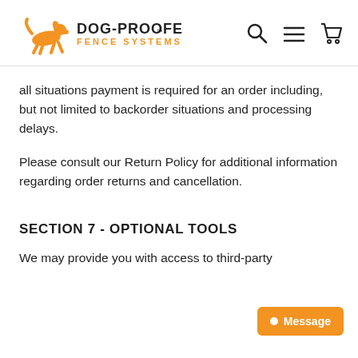DOG-PROOFER FENCE SYSTEMS
all situations payment is required for an order including, but not limited to backorder situations and processing delays.
Please consult our Return Policy for additional information regarding order returns and cancellation.
SECTION 7 - OPTIONAL TOOLS
We may provide you with access to third-party